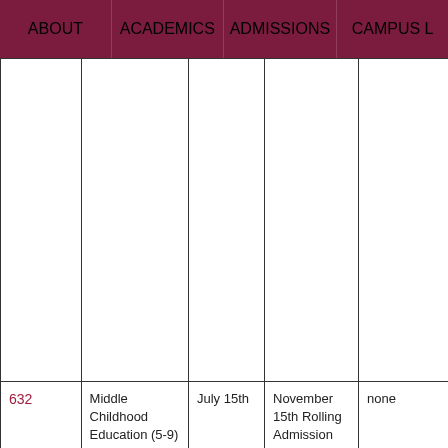ABOUT | ACADEMICS | ADMISSIONS | CAMPUS L
|  |  |  |  |  |
| --- | --- | --- | --- | --- |
|  |  |  |  |  |
| 632 | Middle Childhood Education (5-9) - General Science Teacher - Specialization in | July 15th | November 15th Rolling Admission | none |